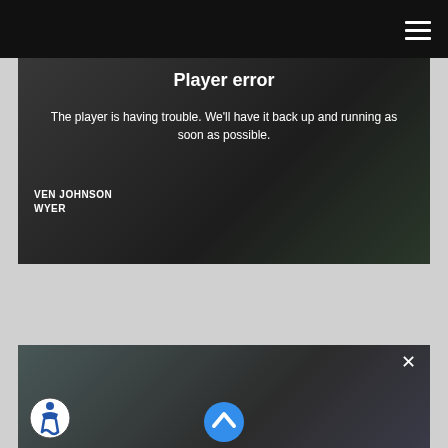[Figure (screenshot): Video player showing error message: 'Player error' with text 'The player is having trouble. We'll have it back up and running as soon as possible.' Lower-left shows 'VEN JOHNSON WYER' text overlay on dark video background.]
[Figure (screenshot): Second video player thumbnail showing two people in conversation, with a close (X) button top-right, an accessibility icon bottom-left, and a scroll-up chevron icon in the center-bottom area.]